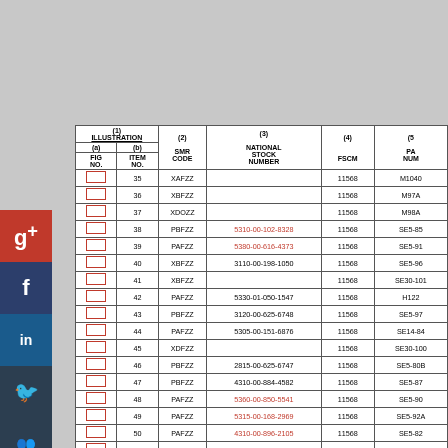| (1) ILLUSTRATION (a) FIG NO. | (1) ILLUSTRATION (b) ITEM NO. | (2) SMR CODE | (3) NATIONAL STOCK NUMBER | (4) FSCM | (5) PART NUMBER |
| --- | --- | --- | --- | --- | --- |
|  | 35 | XAFZZ |  | 11568 | M1040 |
|  | 36 | XBFZZ |  | 11568 | M97A |
|  | 37 | XDOZZ |  | 11568 | M98A |
|  | 38 | PBFZZ | 5310-00-102-8328 | 11568 | SE5-85 |
|  | 39 | PAFZZ | 5380-00-616-4373 | 11568 | SE5-91 |
|  | 40 | XBFZZ | 3110-00-198-1050 | 11568 | SE5-96 |
|  | 41 | XBFZZ |  | 11568 | SE30-101 |
|  | 42 | PAFZZ | 5330-01-050-1547 | 11568 | H122 |
|  | 43 | PBFZZ | 3120-00-625-6748 | 11568 | SE5-97 |
|  | 44 | PAFZZ | 5305-00-151-6876 | 11568 | SE14-84 |
|  | 45 | XDFZZ |  | 11568 | SE30-100 |
|  | 46 | PBFZZ | 2815-00-625-6747 | 11568 | SE5-80B |
|  | 47 | PBFZZ | 4310-00-884-4582 | 11568 | SE5-87 |
|  | 48 | PAFZZ | 5360-00-850-5541 | 11568 | SE5-90 |
|  | 49 | PAFZZ | 5315-00-168-2969 | 11568 | SE5-92A |
|  | 50 | PAFZZ | 4310-00-896-2105 | 11568 | SE5-82 |
|  | 51 | XDFZZ |  | 11568 | RE14-94 |
|  | 52 | PAOZZ | 5310-00-237-6749 | 11568 | M400 |